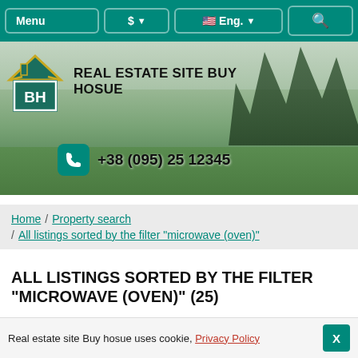Menu | $ | Eng. | Search
[Figure (screenshot): Real estate website hero banner showing a scenic countryside with log cabins, green hills and forest. Contains logo 'BH' house icon, brand name 'REAL ESTATE SITE BUY HOSUE', and phone number '+38 (095) 25 12345']
Home / Property search / All listings sorted by the filter "microwave (oven)"
ALL LISTINGS SORTED BY THE FILTER "MICROWAVE (OVEN)" (25)
Real estate site Buy hosue uses cookie, Privacy Policy X